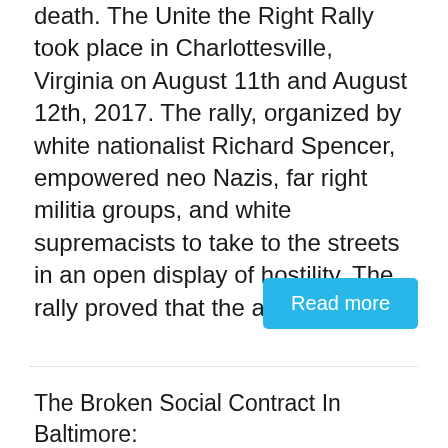death. The Unite the Right Rally took place in Charlottesville, Virginia on August 11th and August 12th, 2017. The rally, organized by white nationalist Richard Spencer, empowered neo Nazis, far right militia groups, and white supremacists to take to the streets in an open display of hostility. The rally proved that the alt-right is not
Read more
The Broken Social Contract In Baltimore: Police Violence And Hate Crimes